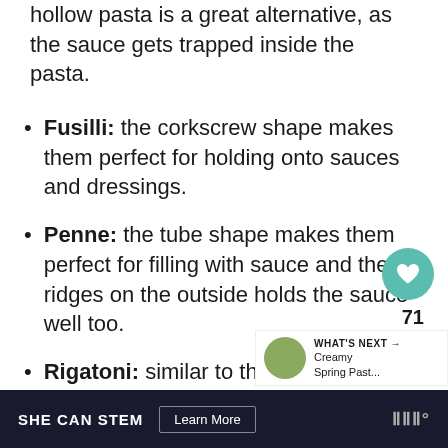hollow pasta is a great alternative, as the sauce gets trapped inside the pasta.
Fusilli: the corkscrew shape makes them perfect for holding onto sauces and dressings.
Penne: the tube shape makes them perfect for filling with sauce and the ridges on the outside holds the sauce well too.
Rigatoni: similar to the penne, and
SHE CAN STEM   Learn More